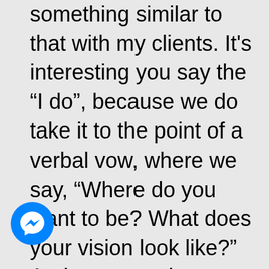something similar to that with my clients. It’s interesting you say the “I do”, because we do take it to the point of a verbal vow, where we say, “Where do you want to be? What does your vision look like?” And once you have that vision in your head, “Why do you want to be there? Why is this important to you?” It
[Figure (logo): Facebook Messenger icon — blue circle with white lightning-bolt chat bubble]